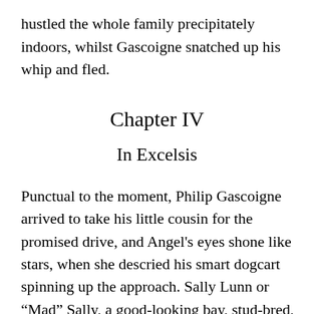hustled the whole family precipitately indoors, whilst Gascoigne snatched up his whip and fled.
Chapter IV
In Excelsis
Punctual to the moment, Philip Gascoigne arrived to take his little cousin for the promised drive, and Angel's eyes shone like stars, when she descried his smart dogcart spinning up the approach. Sally Lunn or “Mad” Sally, a good-looking bay, stud-bred, in hard condition, enjoyed the reputation of being the fastest trotter as well as the most hot-tempered and eccentric animal in the station; only those blessed with a cool